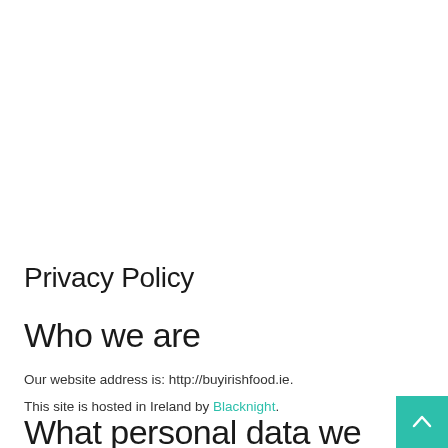Privacy Policy
Who we are
Our website address is: http://buyirishfood.ie.
This site is hosted in Ireland by Blacknight.
What personal data we